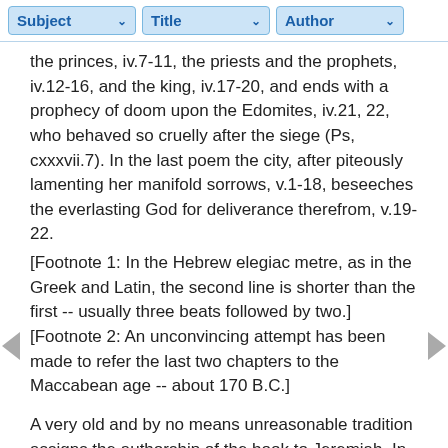Subject | Title | Author
the princes, iv.7-11, the priests and the prophets, iv.12-16, and the king, iv.17-20, and ends with a prophecy of doom upon the Edomites, iv.21, 22, who behaved so cruelly after the siege (Ps, cxxxvii.7). In the last poem the city, after piteously lamenting her manifold sorrows, v.1-18, beseeches the everlasting God for deliverance therefrom, v.19-22.
[Footnote 1: In the Hebrew elegiac metre, as in the Greek and Latin, the second line is shorter than the first -- usually three beats followed by two.]
[Footnote 2: An unconvincing attempt has been made to refer the last two chapters to the Maccabean age -- about 170 B.C.]
A very old and by no means unreasonable tradition assigns the authorship of the book to Jeremiah. In the Greek version it is introduced by the words